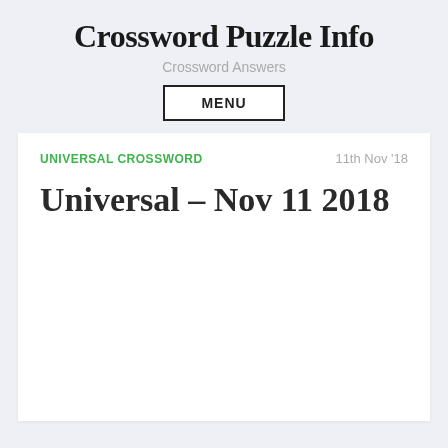Crossword Puzzle Info
Crossword Answers
MENU
UNIVERSAL CROSSWORD
11th Nov '18
Universal – Nov 11 2018